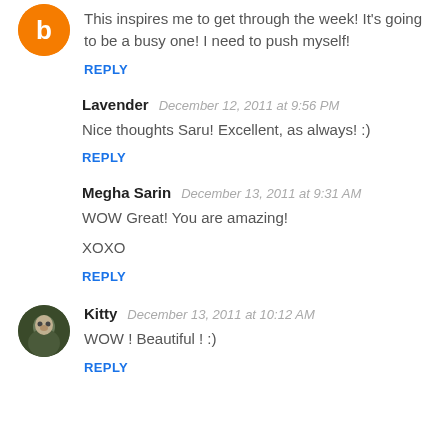[Figure (illustration): Blogger logo avatar - orange circle with white B letter]
This inspires me to get through the week! It's going to be a busy one! I need to push myself!
REPLY
Lavender   December 12, 2011 at 9:56 PM
Nice thoughts Saru! Excellent, as always! :)
REPLY
Megha Sarin   December 13, 2011 at 9:31 AM
WOW Great! You are amazing!
XOXO
REPLY
[Figure (photo): Small circular profile photo of Kitty - person in dark clothing]
Kitty   December 13, 2011 at 10:12 AM
WOW ! Beautiful ! :)
REPLY